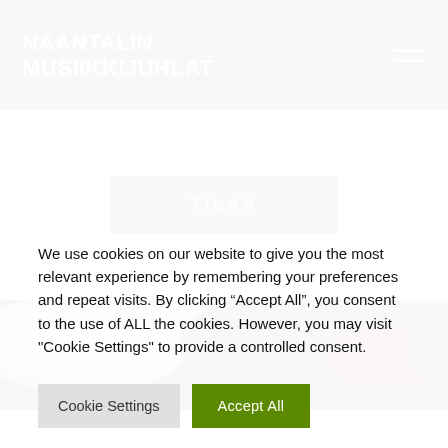NAANTALIN MUSIIKKIJUHLAT
TILAA
[Figure (photo): Abstract watercolor-style image with blue, dark navy, and dark red/maroon cloud-like textures across a horizontal band]
We use cookies on our website to give you the most relevant experience by remembering your preferences and repeat visits. By clicking “Accept All”, you consent to the use of ALL the cookies. However, you may visit "Cookie Settings" to provide a controlled consent.
Cookie Settings
Accept All